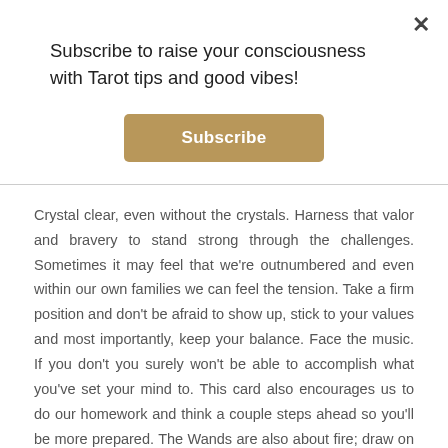Subscribe to raise your consciousness with Tarot tips and good vibes!
[Figure (other): Subscribe button — golden/tan rounded rectangle with white bold text 'Subscribe']
Crystal clear, even without the crystals. Harness that valor and bravery to stand strong through the challenges. Sometimes it may feel that we're outnumbered and even within our own families we can feel the tension. Take a firm position and don't be afraid to show up, stick to your values and most importantly, keep your balance. Face the music. If you don't you surely won't be able to accomplish what you've set your mind to. This card also encourages us to do our homework and think a couple steps ahead so you'll be more prepared. The Wands are also about fire; draw on that inner spark and let it be the source